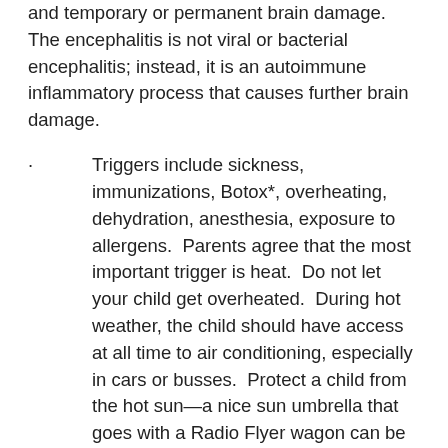and temporary or permanent brain damage. The encephalitis is not viral or bacterial encephalitis; instead, it is an autoimmune inflammatory process that causes further brain damage.
·        Triggers include sickness, immunizations, Botox*, overheating, dehydration, anesthesia, exposure to allergens.  Parents agree that the most important trigger is heat.  Do not let your child get overheated.  During hot weather, the child should have access at all time to air conditioning, especially in cars or busses.  Protect a child from the hot sun—a nice sun umbrella that goes with a Radio Flyer wagon can be obtained at Toys R Us...